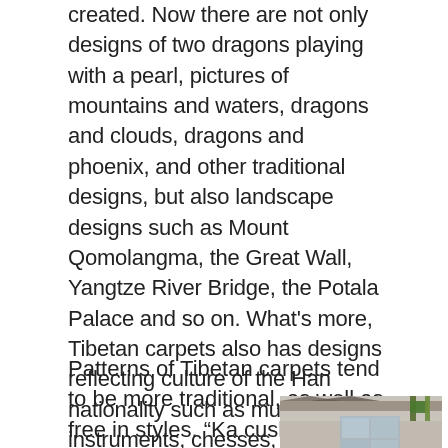created. Now there are not only designs of two dragons playing with a pearl, pictures of mountains and waters, dragons and clouds, dragons and phoenix, and other traditional designs, but also landscape designs such as Mount Qomolangma, the Great Wall, Yangtze River Bridge, the Potala Palace and so on. What's more, Tibetan carpets also has designs reflecting culture of the Han nationality such as musical instruments, chesses, books, pictures, as well as some characteristic plants like plums, orchids, chrysanthemums, and bamboos.
Patterns of Tibetan carpets tend to be more traditional, as well as free in styles. “Ka cushion” means mini-cushion in Tibetan language. It’s the
[Figure (photo): A photo showing a group of people, likely Tibetan women, sitting together outdoors at what appears to be a market or social gathering area with structures visible in the background.]